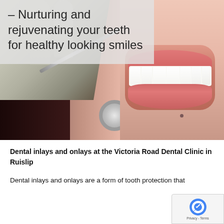[Figure (photo): A dental clinic photo showing a dentist's gloved hand holding a dental mirror tool near a patient's mouth, who is showing a bright white smile with red lips.]
– Nurturing and rejuvenating your teeth for healthy looking smiles
Dental inlays and onlays at the Victoria Road Dental Clinic in Ruislip
Dental inlays and onlays are a form of tooth protection that